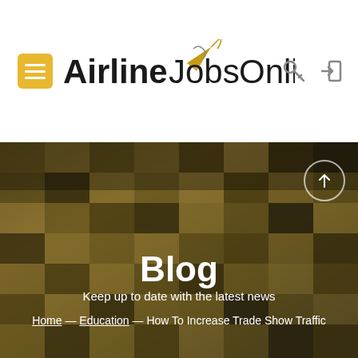Airline Jobs Online
Blog
Keep up to date with the latest news
Home — Education — How To Increase Trade Show Traffic